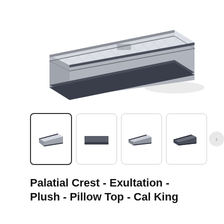[Figure (photo): Main product image of a Sealy Palatial Crest mattress with pillow top, shown in a 3/4 angle view. Light gray quilted fabric with dark gray border trim.]
[Figure (photo): Thumbnail gallery row showing four small mattress thumbnail images. First thumbnail (active/selected) shows pillow top angled view. Second shows a flat dark mattress side view. Third shows another angled lighter mattress. Fourth shows a darker angled mattress. A next arrow button appears at the right end.]
Palatial Crest - Exultation - Plush - Pillow Top - Cal King